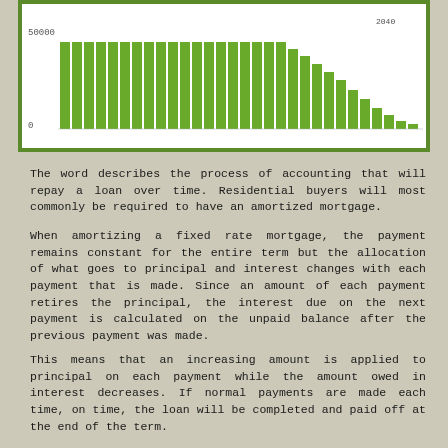[Figure (bar-chart): Mortgage amortization bar chart]
The word describes the process of accounting that will repay a loan over time. Residential buyers will most commonly be required to have an amortized mortgage.
When amortizing a fixed rate mortgage, the payment remains constant for the entire term but the allocation of what goes to principal and interest changes with each payment that is made. Since an amount of each payment retires the principal, the interest due on the next payment is calculated on the unpaid balance after the previous payment was made.
This means that an increasing amount is applied to principal on each payment while the amount owed in interest decreases. If normal payments are made each time, on time, the loan will be completed and paid off at the end of the term.